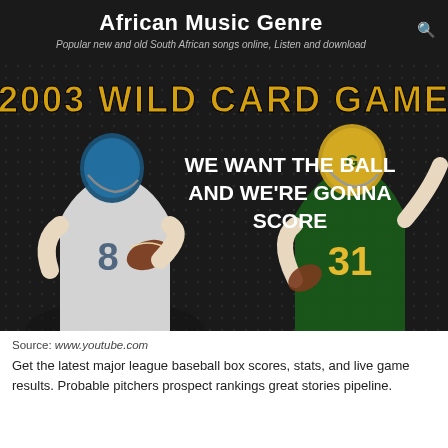African Music Genre
Popular new and old South African songs online, Listen and download
[Figure (photo): Promotional graphic for the 2003 Wild Card Game showing two NFL players. On the left is a Seattle Seahawks player (#8) in white jersey holding a football. On the right is a Green Bay Packers player (#31) in green and gold uniform making a gesture. Text overlay reads '2003 WILD CARD GAME' in gold and 'WE WANT THE BALL AND WE'RE GONNA SCORE' in white, on a dark background.]
Source: www.youtube.com
Get the latest major league baseball box scores, stats, and live game results. Probable pitchers prospect rankings great stories pipeline.